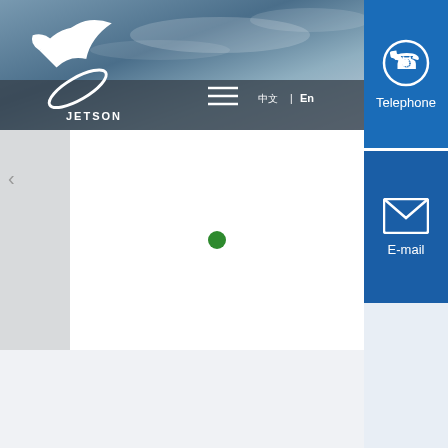[Figure (screenshot): Website header with blue/grey sky background, JETSON logo on left, hamburger menu icon and language switcher (Chinese characters and 'En') in center, navigation bar]
[Figure (logo): JETSON company logo: white bird/dove graphic with circular ring element, text 'JETSON' below]
En
[Figure (infographic): Blue sidebar with Telephone button (phone icon) and E-mail button (envelope icon)]
Telephone
E-mail